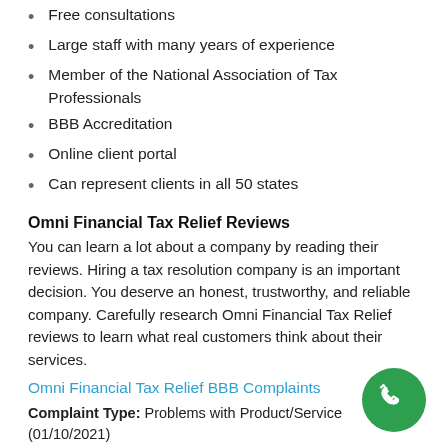Free consultations
Large staff with many years of experience
Member of the National Association of Tax Professionals
BBB Accreditation
Online client portal
Can represent clients in all 50 states
Omni Financial Tax Relief Reviews
You can learn a lot about a company by reading their reviews. Hiring a tax resolution company is an important decision. You deserve an honest, trustworthy, and reliable company. Carefully research Omni Financial Tax Relief reviews to learn what real customers think about their services.
Omni Financial Tax Relief BBB Complaints
Complaint Type: Problems with Product/Service (01/10/2021)